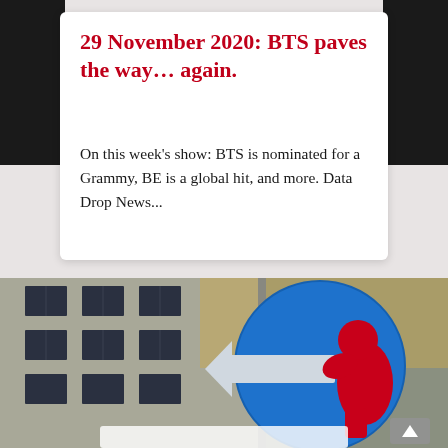29 November 2020: BTS paves the way… again.
On this week's show: BTS is nominated for a Grammy, BE is a global hit, and more. Data Drop News...
[Figure (photo): Street scene showing a blue circular road sign with a white arrow pointing left, overlaid with a red figure/sculpture. Background shows a building facade with windows.]